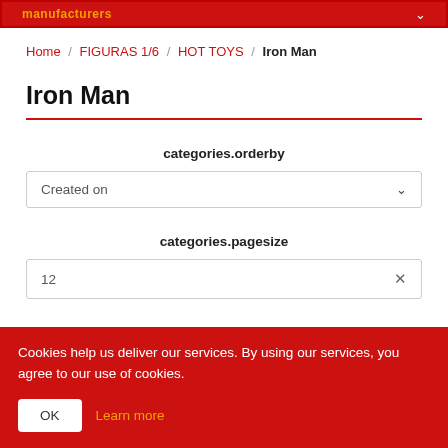manufacturers
Home / FIGURAS 1/6 / HOT TOYS / Iron Man
Iron Man
categories.orderby
Created on
categories.pagesize
12
Cookies help us deliver our services. By using our services, you agree to our use of cookies.
OK
Learn more